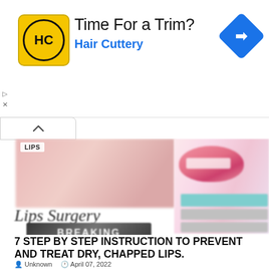[Figure (infographic): Hair Cuttery advertisement banner with yellow logo, 'Time For a Trim?' headline, 'Hair Cuttery' subtext in blue, and blue diamond arrow icon on the right]
[Figure (photo): Blurred collage of lip-related images including a LIPS-labeled pink skin image on the left, a pink lips illustration on the right, 'Lips Surgery' text overlay, and a dark 'BREAKING' banner at the bottom]
7 STEP BY STEP INSTRUCTION TO PREVENT AND TREAT DRY, CHAPPED LIPS.
Unknown   April 07, 2022
7 STEP BY STEP  INSTRUCTION  TO PREVENT AND TREAT DRY, CHAPPED LIPSCool, dry climate, ...